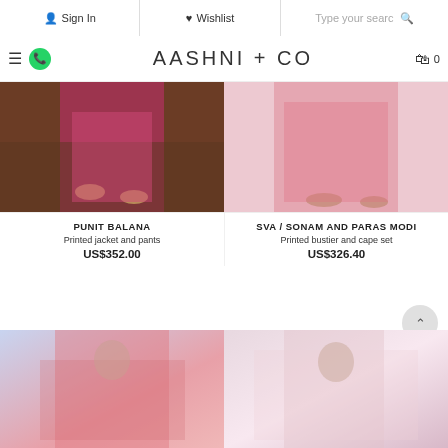Sign In | Wishlist | Type your search | AASHNI + CO | 0
[Figure (screenshot): Product image left: lower half of model in pink floral outfit with heels on dark background]
[Figure (screenshot): Product image right: lower half of model in pink printed cape set on light pink background]
PUNIT BALANA
Printed jacket and pants
US$352.00
SVA / SONAM AND PARAS MODI
Printed bustier and cape set
US$326.40
[Figure (screenshot): Bottom left product image: model in pink checked co-ord set with cape sleeves on pink-blue background]
[Figure (screenshot): Bottom right product image: model in floral co-ord set with blazer on pink-purple background]